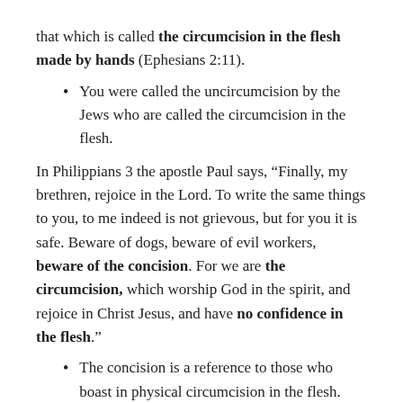that which is called the circumcision in the flesh made by hands (Ephesians 2:11).
You were called the uncircumcision by the Jews who are called the circumcision in the flesh.
In Philippians 3 the apostle Paul says, “Finally, my brethren, rejoice in the Lord. To write the same things to you, to me indeed is not grievous, but for you it is safe. Beware of dogs, beware of evil workers, beware of the concision. For we are the circumcision, which worship God in the spirit, and rejoice in Christ Jesus, and have no confidence in the flesh.”
The concision is a reference to those who boast in physical circumcision in the flesh. However, according to the apostle Paul, those who are in